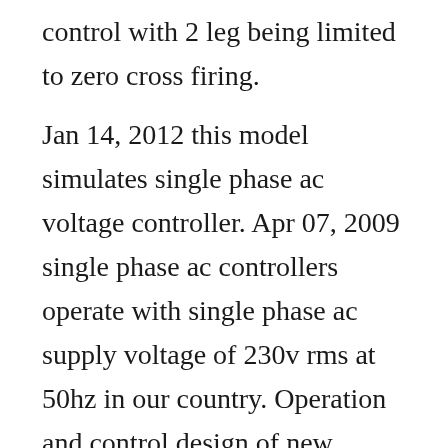control with 2 leg being limited to zero cross firing.
Jan 14, 2012 this model simulates single phase ac voltage controller. Apr 07, 2009 single phase ac controllers operate with single phase ac supply voltage of 230v rms at 50hz in our country. Operation and control design of new threephase dcac. Operation and control design of new threephase inverters with reduced number of switches ahmed darwish, yachao wang. Three phase, full wave controlled bridge rectifier circuits with various switching schemes half